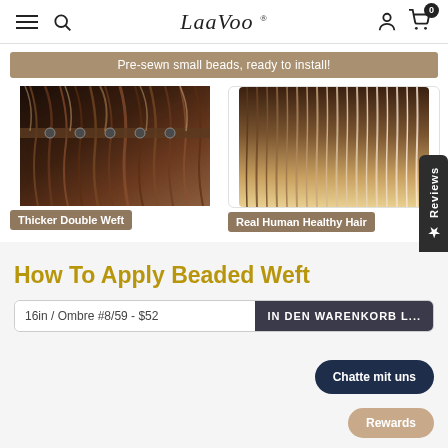LaaVoo
Pre-sewn small beads, ready to install!
[Figure (photo): Close-up photo of dark brown hair extension with small beads/weft sewn in, showing thick double weft construction]
Thicker Double Weft
[Figure (photo): Close-up photo of ombre hair extension showing gradient from dark brown roots to blonde tips, real human healthy hair]
Real Human Healthy Hair
How To Apply Beaded Weft
16in / Ombre #8/59 - $52
IN DEN WARENKORB L...
Chatte mit uns
Rewards